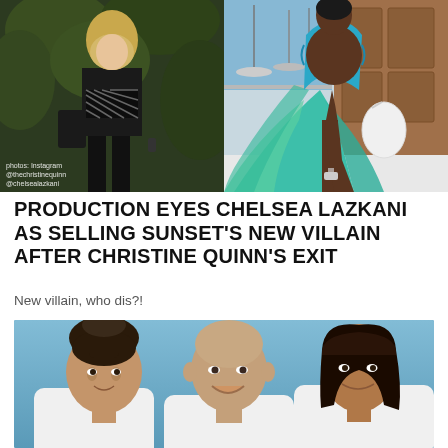[Figure (photo): Two side-by-side photos: left shows a blonde woman in a black fishnet crop top and black pants walking outdoors; right shows a Black woman in a teal/green flowing gown posing on a yacht. Photo credits: photos: Instagram @thechristinequinn @chelsealazkani]
PRODUCTION EYES CHELSEA LAZKANI AS SELLING SUNSET'S NEW VILLAIN AFTER CHRISTINE QUINN'S EXIT
New villain, who dis?!
[Figure (photo): Bottom photo showing three people (two women and a man) against a blue background, partially cut off at the bottom of the page.]